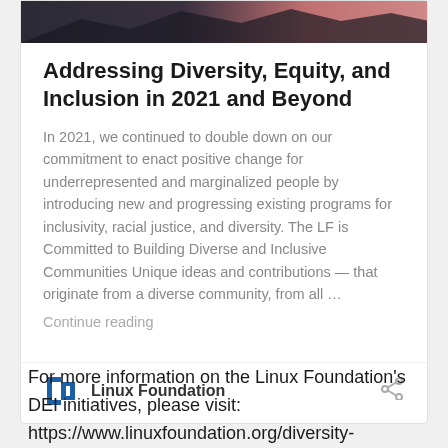[Figure (photo): Partial image visible at top of card — dark/sunset tones, mountains or landscape silhouette]
Addressing Diversity, Equity, and Inclusion in 2021 and Beyond
In 2021, we continued to double down on our commitment to enact positive change for underrepresented and marginalized people by introducing new and progressing existing programs for inclusivity, racial justice, and diversity. The LF is Committed to Building Diverse and Inclusive Communities Unique ideas and contributions — that originate from a diverse community, from all …
Continue reading
[Figure (logo): Linux Foundation square bracket logo in blue]
Linux Foundation
For more information on the Linux Foundation's DEI initiatives, please visit: https://www.linuxfoundation.org/diversity-